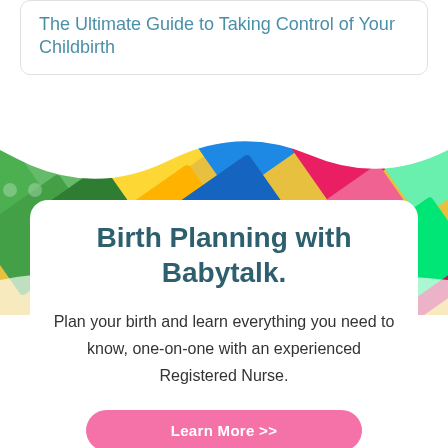The Ultimate Guide to Taking Control of Your Childbirth
[Figure (photo): Colorful LEGO bricks arranged diagonally, photographed from above, with a wavy white border at the top.]
Birth Planning with Babytalk.
Plan your birth and learn everything you need to know, one-on-one with an experienced Registered Nurse.